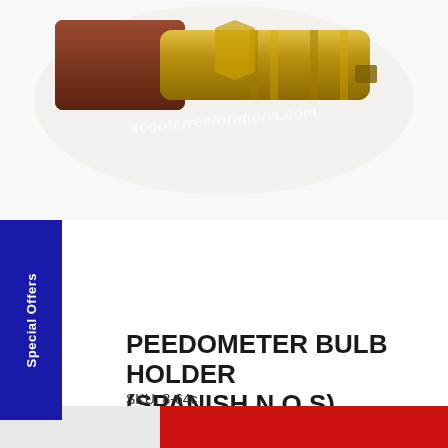[Figure (photo): Close-up photo of a speedometer bulb holder part (Spanish N.O.S) — metallic brass/gold colored cylindrical connector with a dark reddish-brown component, watermark text 'scooterrestorations.com' overlaid on the image.]
SPEEDOMETER BULB HOLDER (SPANISH N.O.S)
SKU: 8-64c
£5.00  In Stock